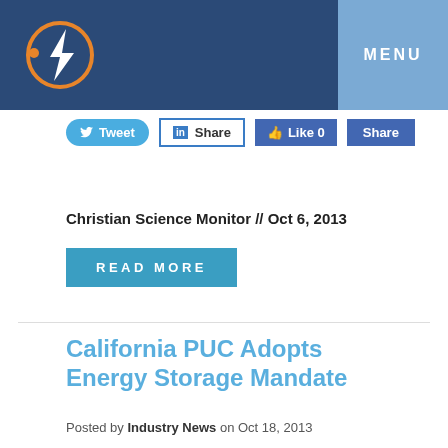[Figure (logo): Lightning bolt in circle logo on dark blue header bar with MENU button on right]
Tweet  Share  Like 0  Share
Christian Science Monitor // Oct 6, 2013
READ MORE
California PUC Adopts Energy Storage Mandate
Posted by Industry News on Oct 18, 2013
Tweet  Share  Like 0  Share